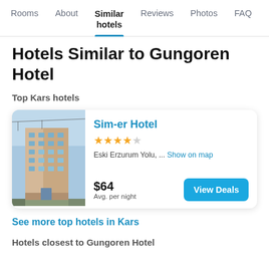Rooms | About | Similar hotels | Reviews | Photos | FAQ
Hotels Similar to Gungoren Hotel
Top Kars hotels
[Figure (photo): Exterior photo of Sim-er Hotel building, a multi-storey hotel with brown and white facade]
Sim-er Hotel
★★★★☆
Eski Erzurum Yolu, ...  Show on map
$64
Avg. per night
[View Deals button]
See more top hotels in Kars
Hotels closest to Gungoren Hotel